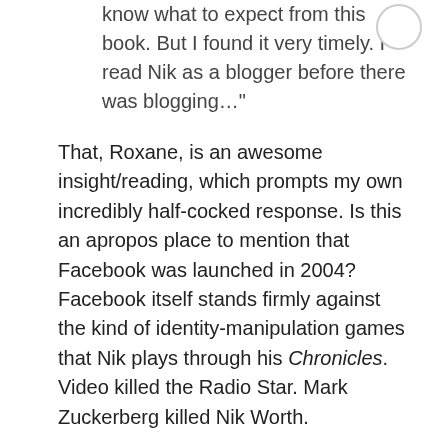know what to expect from this book. But I found it very timely. I read Nik as a blogger before there was blogging…"
That, Roxane, is an awesome insight/reading, which prompts my own incredibly half-cocked response. Is this an apropos place to mention that Facebook was launched in 2004? Facebook itself stands firmly against the kind of identity-manipulation games that Nik plays through his Chronicles. Video killed the Radio Star. Mark Zuckerberg killed Nik Worth.
Flash back to the Net (or your local BBS scenes or whatever) in the late '80s and '90s (and however further back it went; yes, I was young when I first stumbled into it at speeds nearing 300 baud), when it was possible to be whomever or whatever you wanted to be. You could recreate your identity from